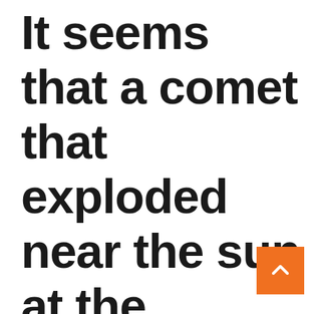It seems that a comet that exploded near the sun at the beginning of this year has caused a scene